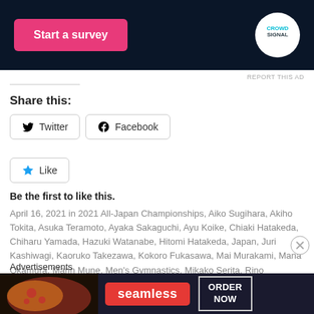[Figure (screenshot): Dark navy advertisement banner with pink 'Start a survey' button on the left and Crowdsignal circular logo on the right]
REPORT THIS AD
Share this:
Twitter   Facebook
Like
Be the first to like this.
April 16, 2021 in 2021 All-Japan Championships, Aiko Sugihara, Akiho Tokita, Asuka Teramoto, Ayaka Sakaguchi, Ayu Koike, Chiaki Hatakeda, Chiharu Yamada, Hazuki Watanabe, Hitomi Hatakeda, Japan, Juri Kashiwagi, Kaoruko Takezawa, Kokoro Fukasawa, Mai Murakami, Mana Okamura, Marin Mune, Men's Gymnastics, Mikako Serita, Rino Mizumura, Sae Miyakawa, Shizuku Sonezaki, Touwa Matsuda, Ui Soma, Urara Ashikawa, Yuki Uchiyama, Yumika Nakamura, Yuna Hiraiwa
Advertisements
[Figure (screenshot): Seamless food delivery advertisement with pizza image on dark background, red Seamless logo in center, and 'ORDER NOW' button on right]